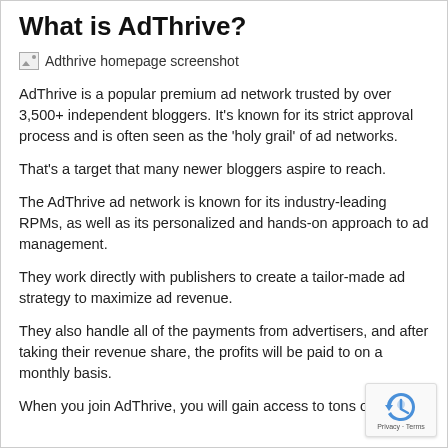What is AdThrive?
[Figure (screenshot): Adthrive homepage screenshot placeholder image icon]
AdThrive is a popular premium ad network trusted by over 3,500+ independent bloggers. It's known for its strict approval process and is often seen as the ‘holy grail’ of ad networks.
That's a target that many newer bloggers aspire to reach.
The AdThrive ad network is known for its industry-leading RPMs, as well as its personalized and hands-on approach to ad management.
They work directly with publishers to create a tailor-made ad strategy to maximize ad revenue.
They also handle all of the payments from advertisers, and after taking their revenue share, the profits will be paid to on a monthly basis.
When you join AdThrive, you will gain access to tons of